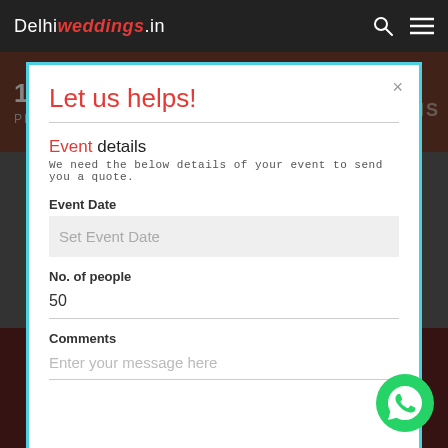Delhiweddings.in
Let us helps!
Event details
We need the below details of your event to send you a quote.
Event Date
Set Event Date
No. of people
50
Comments
Enter your message here